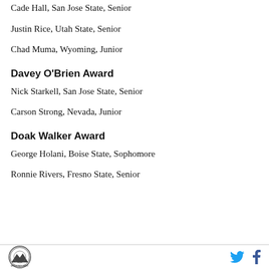Cade Hall, San Jose State, Senior
Justin Rice, Utah State, Senior
Chad Muma, Wyoming, Junior
Davey O'Brien Award
Nick Starkell, San Jose State, Senior
Carson Strong, Nevada, Junior
Doak Walker Award
George Holani, Boise State, Sophomore
Ronnie Rivers, Fresno State, Senior
Logo and social media icons